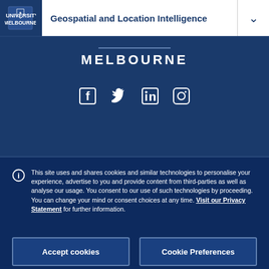Geospatial and Location Intelligence
MELBOURNE
[Figure (illustration): Social media icons: Facebook, Twitter, LinkedIn, Instagram in white on dark blue background]
This site uses and shares cookies and similar technologies to personalise your experience, advertise to you and provide content from third-parties as well as analyse our usage. You consent to our use of such technologies by proceeding. You can change your mind or consent choices at any time. Visit our Privacy Statement for further information.
Accept cookies
Cookie Preferences